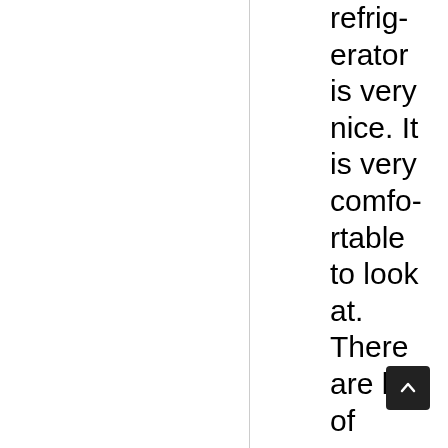refrigerator is very nice. It is very comfortable to look at. There are lots of room to use. Price is good.